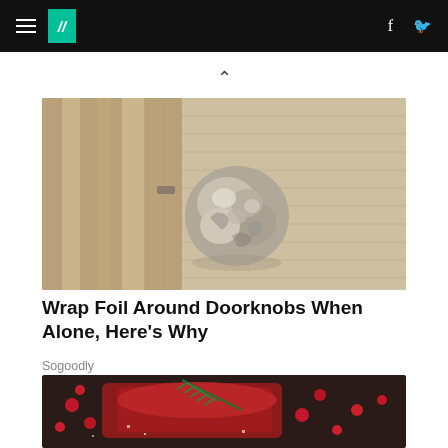HuffPost navigation bar with hamburger menu, logo, Facebook and Twitter icons
[Figure (photo): Close-up of a door knob wrapped in crinkled aluminum foil on a tan/beige paneled door]
Wrap Foil Around Doorknobs When Alone, Here's Why
Sogoodly
[Figure (photo): Close-up of a raw steak or meat with cranberries/red berries and rosemary herb garnish on a dark surface]